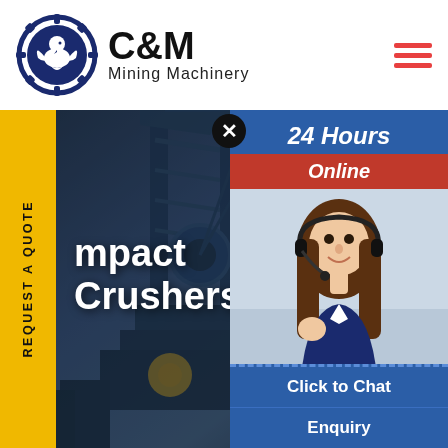[Figure (logo): C&M Mining Machinery logo with eagle gear icon, company name in bold text]
[Figure (photo): Mining machinery/industrial equipment silhouette against dark blue background — hero banner image]
REQUEST A QUOTE
mpact Crushers
[Figure (photo): 24 Hours Online chat widget with female customer service agent wearing headset, blue and red header, Click to Chat button, Enquiry section at bottom]